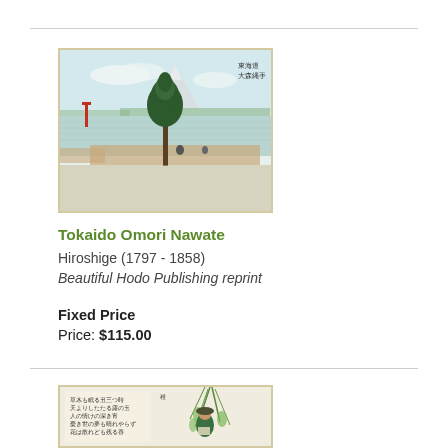[Figure (illustration): Japanese woodblock print showing landscape with tall pine tree, Mount Fuji in background, water, and small figures. Cream/beige border frame.]
Tokaido Omori Nawate
Hiroshige (1797 - 1858)
Beautiful Hodo Publishing reprint
Fixed Price
Price: $115.00
[Figure (illustration): Japanese woodblock print with calligraphy text on left and figure under willow tree branches on right.]